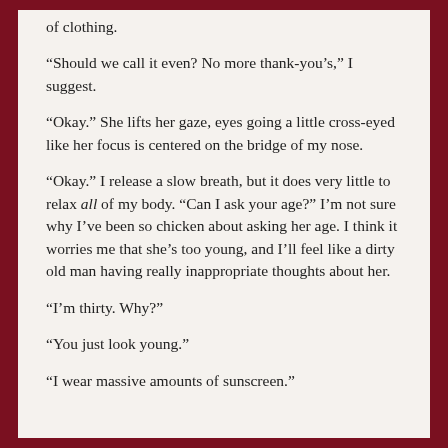of clothing.
“Should we call it even? No more thank-you’s,” I suggest.
“Okay.” She lifts her gaze, eyes going a little cross-eyed like her focus is centered on the bridge of my nose.
“Okay.” I release a slow breath, but it does very little to relax all of my body. “Can I ask your age?” I’m not sure why I’ve been so chicken about asking her age. I think it worries me that she’s too young, and I’ll feel like a dirty old man having really inappropriate thoughts about her.
“I’m thirty. Why?”
“You just look young.”
“I wear massive amounts of sunscreen.”